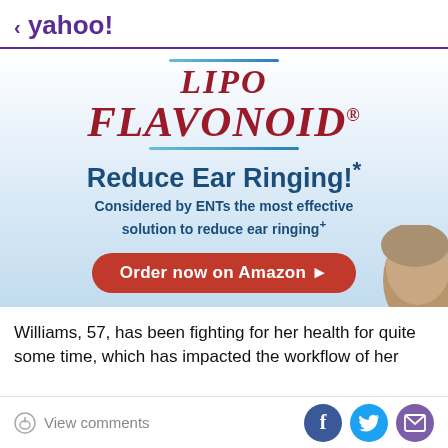< yahoo!
[Figure (illustration): Lipo Flavonoid advertisement banner with logo, tagline 'Reduce Ear Ringing!*', subtext 'Considered by ENTs the most effective solution to reduce ear ringing+', and a red 'Order now on Amazon' button with a partial image of a person's head on the right side.]
Williams, 57, has been fighting for her health for quite some time, which has impacted the workflow of her
View comments | [Facebook] [Twitter] [Mail]